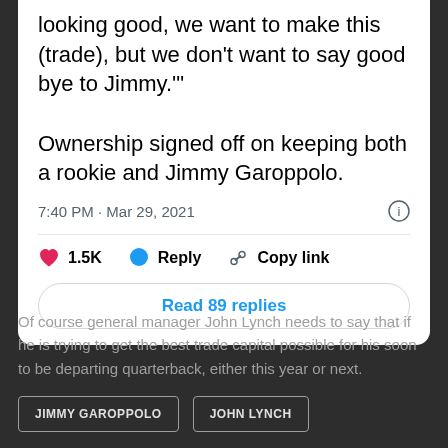looking good, we want to make this (trade), but we don't want to say good bye to Jimmy.'"

Ownership signed off on keeping both a rookie and Jimmy Garoppolo.
7:40 PM · Mar 29, 2021
1.5K   Reply   Copy link
Read 89 replies
Of course general manager John Lynch needs to say that if he is trying to get the best trade capital possible for his soon to be departing quarterback, either this year or next.
JIMMY GAROPPOLO
JOHN LYNCH